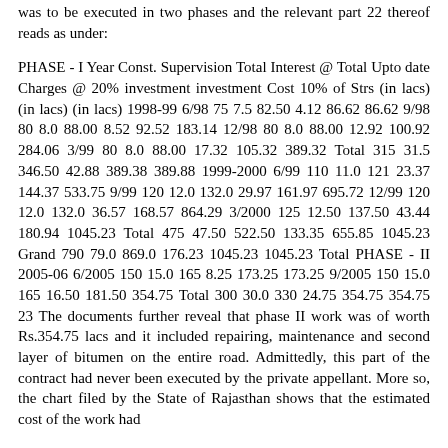was to be executed in two phases and the relevant part 22 thereof reads as under:
PHASE - I Year Const. Supervision Total Interest @ Total Upto date Charges @ 20% investment investment Cost 10% of Strs (in lacs) (in lacs) (in lacs) 1998-99 6/98 75 7.5 82.50 4.12 86.62 86.62 9/98 80 8.0 88.00 8.52 92.52 183.14 12/98 80 8.0 88.00 12.92 100.92 284.06 3/99 80 8.0 88.00 17.32 105.32 389.32 Total 315 31.5 346.50 42.88 389.38 389.88 1999-2000 6/99 110 11.0 121 23.37 144.37 533.75 9/99 120 12.0 132.0 29.97 161.97 695.72 12/99 120 12.0 132.0 36.57 168.57 864.29 3/2000 125 12.50 137.50 43.44 180.94 1045.23 Total 475 47.50 522.50 133.35 655.85 1045.23 Grand 790 79.0 869.0 176.23 1045.23 1045.23 Total PHASE - II 2005-06 6/2005 150 15.0 165 8.25 173.25 173.25 9/2005 150 15.0 165 16.50 181.50 354.75 Total 300 30.0 330 24.75 354.75 354.75 23 The documents further reveal that phase II work was of worth Rs.354.75 lacs and it included repairing, maintenance and second layer of bitumen on the entire road. Admittedly, this part of the contract had never been executed by the private appellant. More so, the chart filed by the State of Rajasthan shows that the estimated cost of the work had